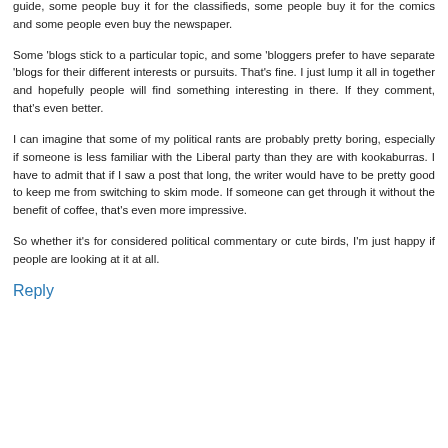guide, some people buy it for the classifieds, some people buy it for the comics and some people even buy the newspaper.
Some 'blogs stick to a particular topic, and some 'bloggers prefer to have separate 'blogs for their different interests or pursuits. That's fine. I just lump it all in together and hopefully people will find something interesting in there. If they comment, that's even better.
I can imagine that some of my political rants are probably pretty boring, especially if someone is less familiar with the Liberal party than they are with kookaburras. I have to admit that if I saw a post that long, the writer would have to be pretty good to keep me from switching to skim mode. If someone can get through it without the benefit of coffee, that's even more impressive.
So whether it's for considered political commentary or cute birds, I'm just happy if people are looking at it at all.
Reply